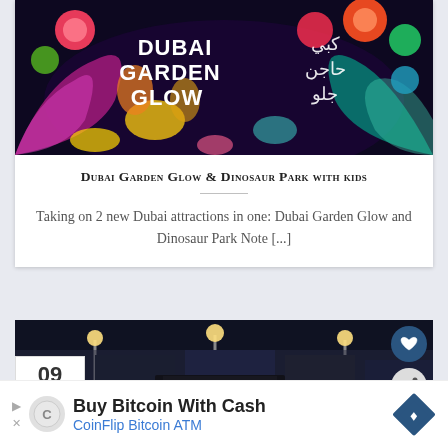[Figure (photo): Dubai Garden Glow colorful illuminated floral display with Arabic and English text signage at night]
Dubai Garden Glow & Dinosaur Park with kids
Taking on 2 new Dubai attractions in one: Dubai Garden Glow and Dinosaur Park Note [...]
[Figure (photo): Night photo of the Kaaba in Mecca with surrounding mosque area and bright lights]
09 Sep
WHAT'S NEXT → Perfect Eid
Buy Bitcoin With Cash CoinFlip Bitcoin ATM